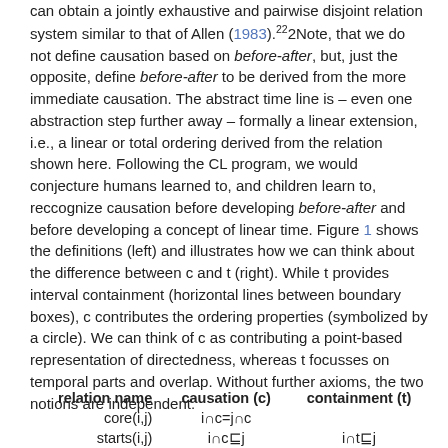can obtain a jointly exhaustive and pairwise disjoint relation system similar to that of Allen (1983).²²Note, that we do not define causation based on before-after, but, just the opposite, define before-after to be derived from the more immediate causation. The abstract time line is – even one abstraction step further away – formally a linear extension, i.e., a linear or total ordering derived from the relation shown here. Following the CL program, we would conjecture humans learned to, and children learn to, reccognize causation before developing before-after and before developing a concept of linear time. Figure 1 shows the definitions (left) and illustrates how we can think about the difference between c and t (right). While t provides interval containment (horizontal lines between boundary boxes), c contributes the ordering properties (symbolized by a circle). We can think of c as contributing a point-based representation of directedness, whereas t focusses on temporal parts and overlap. Without further axioms, the two notions are independent.
| relation name | causation (c) | containment (t) |
| --- | --- | --- |
| core(i,j) | i∩c=j∩c |  |
| starts(i,j) | i∩c⊑j | i∩t⊑j |